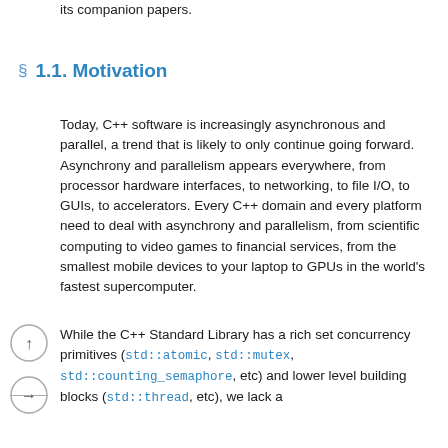its companion papers.
§ 1.1. Motivation
Today, C++ software is increasingly asynchronous and parallel, a trend that is likely to only continue going forward. Asynchrony and parallelism appears everywhere, from processor hardware interfaces, to networking, to file I/O, to GUIs, to accelerators. Every C++ domain and every platform need to deal with asynchrony and parallelism, from scientific computing to video games to financial services, from the smallest mobile devices to your laptop to GPUs in the world's fastest supercomputer.
While the C++ Standard Library has a rich set concurrency primitives (std::atomic, std::mutex, std::counting_semaphore, etc) and lower level building blocks (std::thread, etc), we lack a